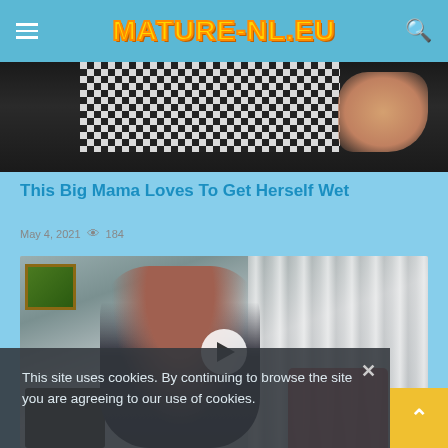MATURE-NL.EU
[Figure (photo): Partial view of a houndstooth fabric and a hand with a ring on a dark surface]
This Big Mama Loves To Get Herself Wet
May 4, 2021  👁  184
[Figure (photo): Woman with dark curly hair and glasses wearing a dark top, seated near a red chair with curtains in background, with a play button overlay]
This site uses cookies. By continuing to browse the site you are agreeing to our use of cookies.